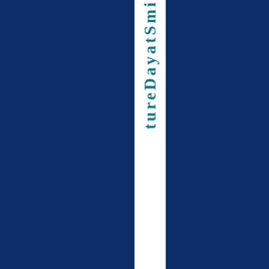[Figure (other): Book or document cover spine with dark navy blue background and a white vertical strip containing rotated bold teal text reading '...tureDayatSmi...' (partial visible text of what appears to be 'Future Day at Smithsonian' or similar title)]